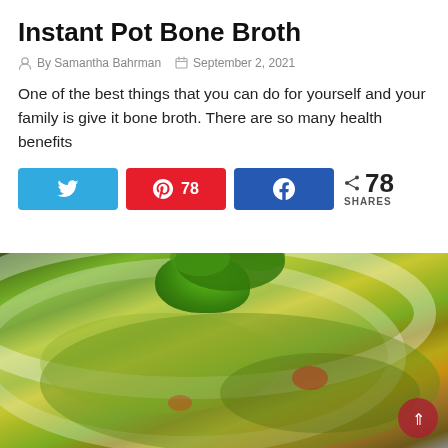Instant Pot Bone Broth
By Samantha Bahrman   September 2, 2021
One of the best things that you can do for yourself and your family is give it bone broth. There are so many health benefits
[Figure (infographic): Social share buttons: Twitter (blue), Pinterest (red, 78 saves), Facebook (blue), and share count showing 78 SHARES]
[Figure (photo): Close-up photo of a white bowl containing green herb-covered food (guacamole or similar), with cilantro visible in the background on a gray surface]